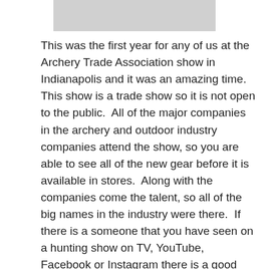[Figure (photo): Gray image placeholder at top of page]
This was the first year for any of us at the Archery Trade Association show in Indianapolis and it was an amazing time. This show is a trade show so it is not open to the public.  All of the major companies in the archery and outdoor industry companies attend the show, so you are able to see all of the new gear before it is available in stores.  Along with the companies come the talent, so all of the big names in the industry were there.  If there is a someone that you have seen on a hunting show on TV, YouTube, Facebook or Instagram there is a good chance they were at this show.  Walking around the show it was nothing to see Jim Shockey, Tim Wells, Cameron Hanes, or Michael Waddell.  World class factory archers such as John Dudley, Steve Anderson or Tim Gillingham were everywhere ,some even working the booths.  Social media personalities such as Born and Raised Outdoors, The Hunting Public and blood moon were everywhere.  The